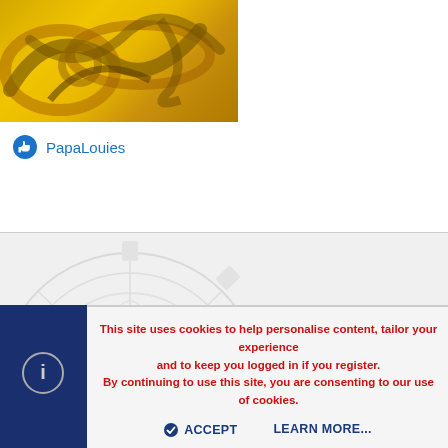[Figure (photo): Close-up photo of golden decorative swirls and ornamental metalwork on a yellow background, cropped at top]
PapaLouies
[Figure (illustration): Gray decorative gear/mandala watermark pattern on light gray background section]
This site uses cookies to help personalise content, tailor your experience and to keep you logged in if you register. By continuing to use this site, you are consenting to our use of cookies.
ACCEPT
LEARN MORE...